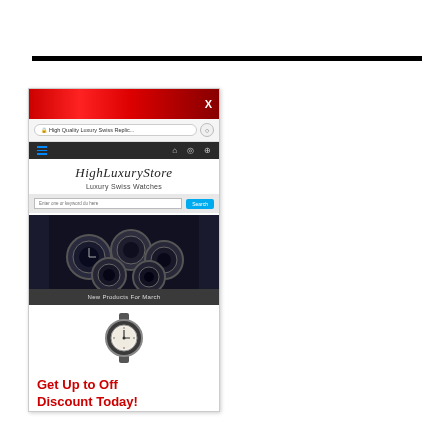[Figure (screenshot): Screenshot of HighLuxuryStore website showing luxury Swiss watches, with a red banner popup at top, URL bar showing 'High Quality Luxury Swiss Replic...', dark navigation bar, site logo 'HighLuxuryStore', subtitle 'Luxury Swiss Watches', search bar, collection of watches image, 'New Products For March' banner, single watch image]
Get Up to Off Discount Today!